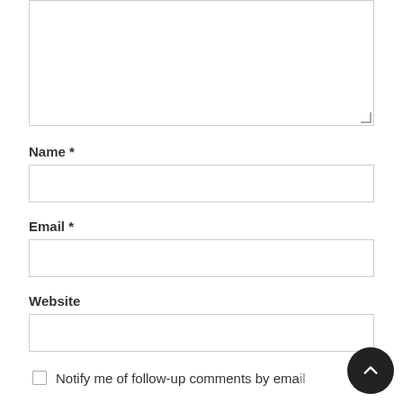[Figure (screenshot): A textarea input box (comment field), partially visible at the top of the page, with a resize handle at the bottom-right corner.]
Name *
[Figure (screenshot): A text input field for Name.]
Email *
[Figure (screenshot): A text input field for Email.]
Website
[Figure (screenshot): A text input field for Website.]
Notify me of follow-up comments by emai...
[Figure (screenshot): A scroll-to-top button (dark circle with an up arrow chevron) overlaid at the bottom right.]